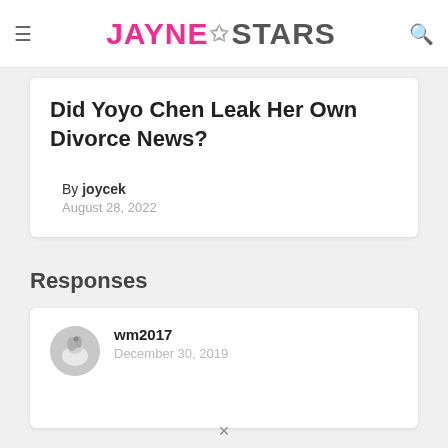JAYNE★STARS
Did Yoyo Chen Leak Her Own Divorce News?
By joycek
August 28, 2022
Responses
wm2017
December 30, 2019